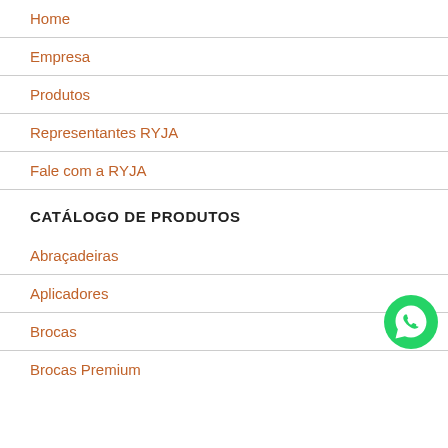Home
Empresa
Produtos
Representantes RYJA
Fale com a RYJA
CATÁLOGO DE PRODUTOS
Abraçadeiras
Aplicadores
Brocas
Brocas Premium
[Figure (logo): WhatsApp phone icon, green circle with white phone handset]